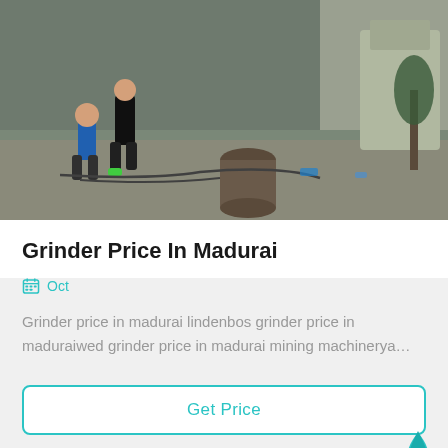[Figure (photo): Construction or industrial site photo with workers and machinery debris on concrete floor, with building walls in background]
Grinder Price In Madurai
Oct
Grinder price in madurai lindenbos grinder price in maduraiwed grinder price in madurai mining machinerya…
Get Price
[Figure (photo): Industrial building exterior with metal framework/scaffolding structure in foreground]
Leave Message
Chat Online